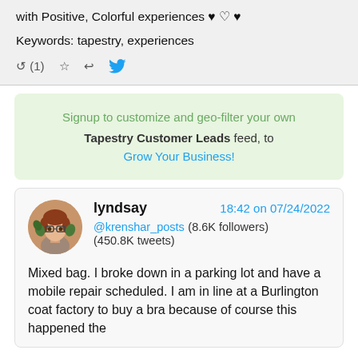with Positive, Colorful experiences ♥ ♡ ♥
Keywords: tapestry, experiences
↺ (1) ☆ ↩ 🐦
Signup to customize and geo-filter your own Tapestry Customer Leads feed, to Grow Your Business!
lyndsay  18:42 on 07/24/2022  @krenshar_posts (8.6K followers) (450.8K tweets)
Mixed bag. I broke down in a parking lot and have a mobile repair scheduled. I am in line at a Burlington coat factory to buy a bra because of course this happened the